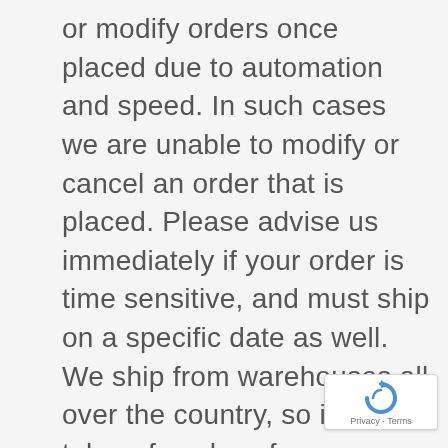or modify orders once placed due to automation and speed. In such cases we are unable to modify or cancel an order that is placed. Please advise us immediately if your order is time sensitive, and must ship on a specific date as well. We ship from warehouses all over the country, so it may take a few days for your order to reach you. Not all orders are shipped from our NY Headquarters. International orders may be shipped United States Postal Service. Please note that recent changes made by carriers mean that orders shipped by common carries such as the Postal Service or UPS may not require a signature confirmation and sometimes are not fully trackable, so we suggest that you call us
[Figure (logo): reCAPTCHA badge with circular arrow icon and Privacy · Terms text]